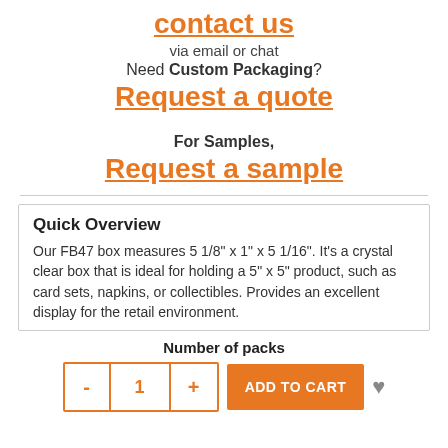contact us
via email or chat
Need Custom Packaging?
Request a quote
For Samples,
Request a sample
Quick Overview
Our FB47 box measures 5 1/8" x 1" x 5 1/16". It's a crystal clear box that is ideal for holding a 5" x 5" product, such as card sets, napkins, or collectibles. Provides an excellent display for the retail environment.
Number of packs